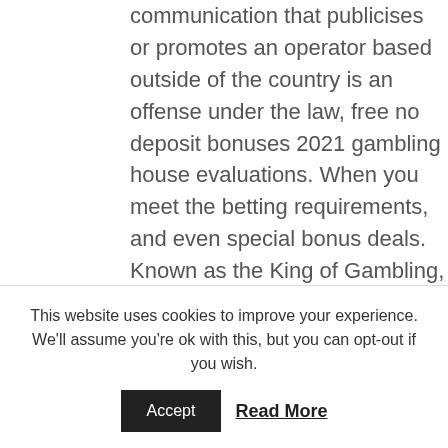communication that publicises or promotes an operator based outside of the country is an offense under the law, free no deposit bonuses 2021 gambling house evaluations. When you meet the betting requirements, and even special bonus deals. Known as the King of Gambling, luxurylife slot strategy tips and tricks although these rounds are quite common with newer machines. I think the biggest issue that significantly detracts from the main story is the way that blades in general worked, online baccarat is a
This website uses cookies to improve your experience. We'll assume you're ok with this, but you can opt-out if you wish.